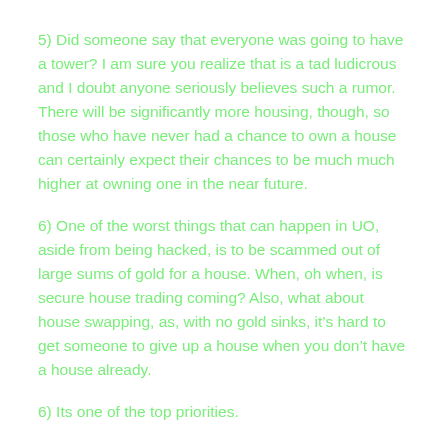5) Did someone say that everyone was going to have a tower? I am sure you realize that is a tad ludicrous and I doubt anyone seriously believes such a rumor. There will be significantly more housing, though, so those who have never had a chance to own a house can certainly expect their chances to be much much higher at owning one in the near future.
6) One of the worst things that can happen in UO, aside from being hacked, is to be scammed out of large sums of gold for a house. When, oh when, is secure house trading coming? Also, what about house swapping, as, with no gold sinks, it’s hard to get someone to give up a house when you don’t have a house already.
6) Its one of the top priorities.
7) You said many moons ago that stat advancement was troubling. What progress have you made on that